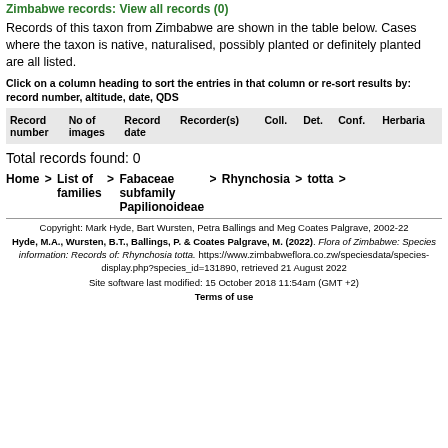Zimbabwe records: View all records (0)
Records of this taxon from Zimbabwe are shown in the table below. Cases where the taxon is native, naturalised, possibly planted or definitely planted are all listed.
Click on a column heading to sort the entries in that column or re-sort results by: record number, altitude, date, QDS
| Record number | No of images | Record date | Recorder(s) | Coll. | Det. | Conf. | Herbaria |
| --- | --- | --- | --- | --- | --- | --- | --- |
Total records found: 0
Home > List of families > Fabaceae subfamily Papilionoideae > Rhynchosia > totta >
Copyright: Mark Hyde, Bart Wursten, Petra Ballings and Meg Coates Palgrave, 2002-22
Hyde, M.A., Wursten, B.T., Ballings, P. & Coates Palgrave, M. (2022). Flora of Zimbabwe: Species information: Records of: Rhynchosia totta. https://www.zimbabweflora.co.zw/speciesdata/species-display.php?species_id=131890, retrieved 21 August 2022
Site software last modified: 15 October 2018 11:54am (GMT +2)
Terms of use